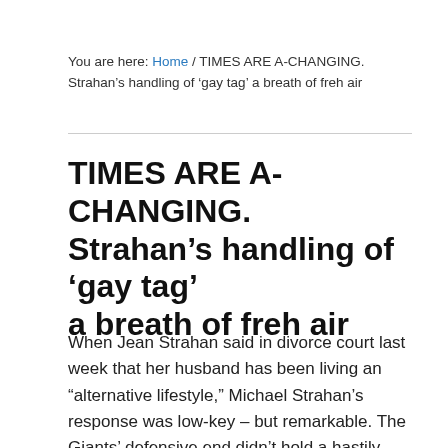You are here: Home / TIMES ARE A-CHANGING. Strahan’s handling of ‘gay tag’ a breath of freh air
TIMES ARE A-CHANGING. Strahan’s handling of ‘gay tag’ a breath of freh air
When Jean Strahan said in divorce court last week that her husband has been living an “alternative lifestyle,” Michael Strahan’s response was low-key – but remarkable. The Giants’ defensive end didn’t hold a hastily organized press conference to loudly proclaim his love for the ladies. He didn’t head to a